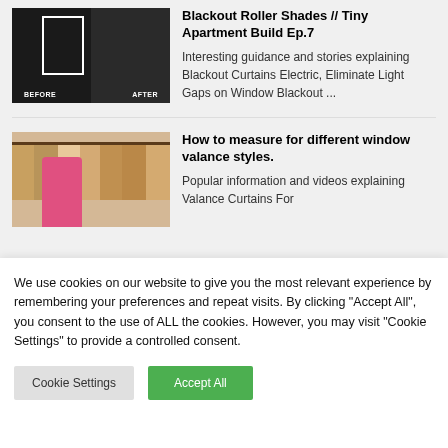[Figure (photo): Before and after comparison photo of a window with blackout roller shades]
Blackout Roller Shades // Tiny Apartment Build Ep.7
Interesting guidance and stories explaining Blackout Curtains Electric, Eliminate Light Gaps on Window Blackout ...
[Figure (photo): Woman in a store showing different window valance curtain styles on display rods]
How to measure for different window valance styles.
Popular information and videos explaining Valance Curtains For
We use cookies on our website to give you the most relevant experience by remembering your preferences and repeat visits. By clicking "Accept All", you consent to the use of ALL the cookies. However, you may visit "Cookie Settings" to provide a controlled consent.